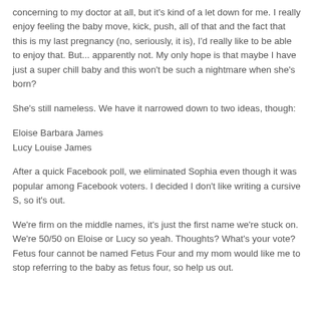concerning to my doctor at all, but it's kind of a let down for me. I really enjoy feeling the baby move, kick, push, all of that and the fact that this is my last pregnancy (no, seriously, it is), I'd really like to be able to enjoy that. But... apparently not. My only hope is that maybe I have just a super chill baby and this won't be such a nightmare when she's born?
She's still nameless. We have it narrowed down to two ideas, though:
Eloise Barbara James
Lucy Louise James
After a quick Facebook poll, we eliminated Sophia even though it was popular among Facebook voters. I decided I don't like writing a cursive S, so it's out.
We're firm on the middle names, it's just the first name we're stuck on. We're 50/50 on Eloise or Lucy so yeah. Thoughts? What's your vote? Fetus four cannot be named Fetus Four and my mom would like me to stop referring to the baby as fetus four, so help us out.